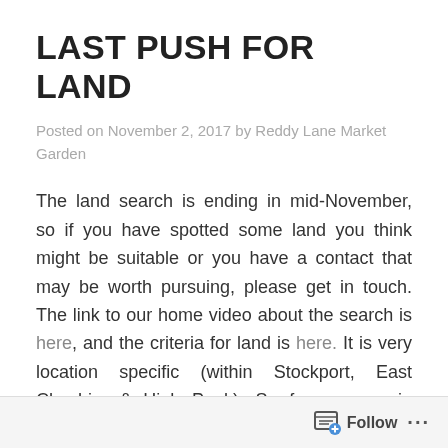LAST PUSH FOR LAND
Posted on November 2, 2017 by Reddy Lane Market Garden
The land search is ending in mid-November, so if you have spotted some land you think might be suitable or you have a contact that may be worth pursuing, please get in touch. The link to our home video about the search is here, and the criteria for land is here. It is very location specific (within Stockport, East Cheshire & High Peak). So far, we are in contact with seven landowners with potential land that they are considering letting out, but I would like to be in touch with more.
Follow ...